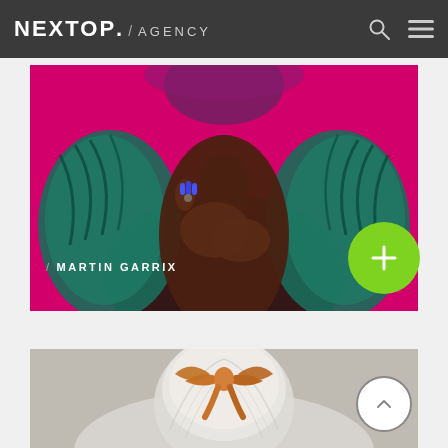NEXTOP. / AGENCY
[Figure (photo): Fashion photo of a dark-skinned woman wearing a teal feathered wrap/coat, posed against a vivid pink/magenta background, with blue painted nails and rings, crossing her hands at her chest.]
/ MARTIN GARRIX
[Figure (photo): Fashion photo of a woman with silver/white hair styled up with an orange/copper satin bow, photographed against a light grey background.]